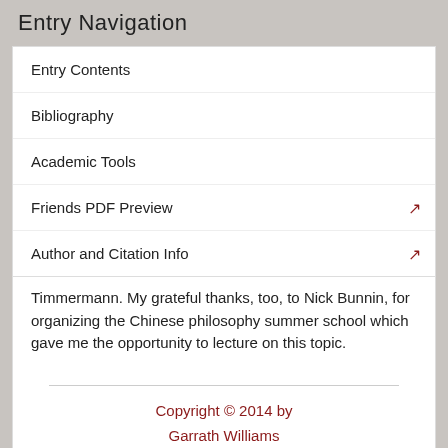Entry Navigation
Entry Contents
Bibliography
Academic Tools
Friends PDF Preview
Author and Citation Info
Timmermann. My grateful thanks, too, to Nick Bunnin, for organizing the Chinese philosophy summer school which gave me the opportunity to lecture on this topic.
Copyright © 2014 by
Garrath Williams
<garrath.williams@lancaster.ac.uk>